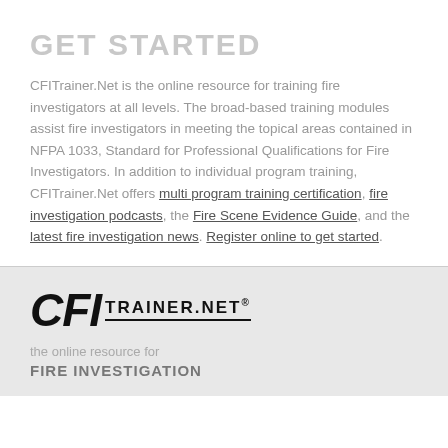GET STARTED
CFITrainer.Net is the online resource for training fire investigators at all levels. The broad-based training modules assist fire investigators in meeting the topical areas contained in NFPA 1033, Standard for Professional Qualifications for Fire Investigators. In addition to individual program training, CFITrainer.Net offers multi program training certification, fire investigation podcasts, the Fire Scene Evidence Guide, and the latest fire investigation news. Register online to get started.
[Figure (logo): CFITrainer.Net logo with bold CFI text and TRAINER.NET® text with underline]
the online resource for FIRE INVESTIGATION